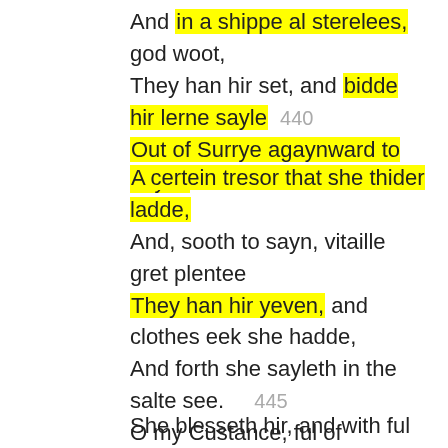And in a shippe al sterelees, god woot,
They han hir set, and bidde hir lerne sayle 440
Out of Surrye agaynward to Itayle.
A certein tresor that she thider ladde,
And, sooth to sayn, vitaille gret plentee
They han hir yeven, and clothes eek she hadde,
And forth she sayleth in the salte see. 445
O my Custance, ful of benignitee,
O emperoures yonge doghter dere,
He that is lord of fortune be thy stere! (350)
She blesseth hir, and with ful pitous voys